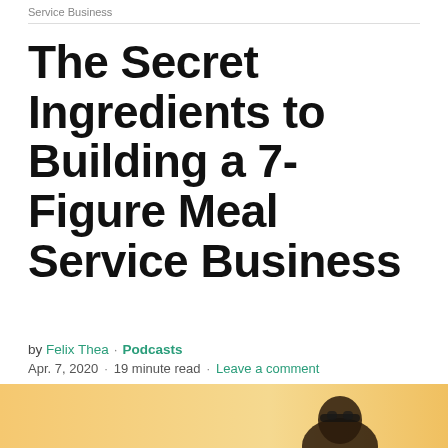Service Business
The Secret Ingredients to Building a 7-Figure Meal Service Business
by Felix Thea · Podcasts
Apr. 7, 2020 · 19 minute read · Leave a comment
[Figure (other): Social share buttons: email (dark grey), Pinterest (red), Facebook (blue), Twitter (light blue), LinkedIn (blue)]
[Figure (photo): Bottom banner with golden/yellow gradient background and partial photo of a person wearing sunglasses]